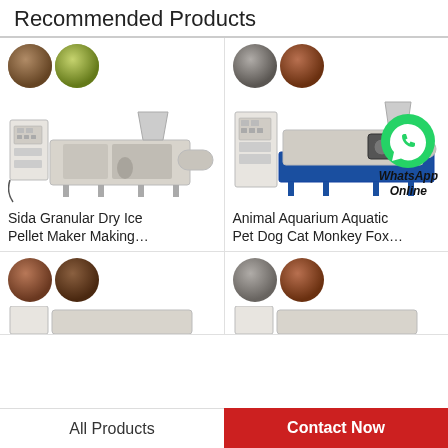Recommended Products
[Figure (photo): Product listing: Sida Granular Dry Ice Pellet Maker Making machine with two pellet images (green/brown) above]
Sida Granular Dry Ice Pellet Maker Making...
[Figure (photo): Product listing: Animal Aquarium Aquatic Pet Dog Cat Monkey Fox machine with two pellet images (grey/brown) above and WhatsApp Online overlay]
Animal Aquarium Aquatic Pet Dog Cat Monkey Fox...
[Figure (photo): Partial product listing row 2, left: two pellet circles (brown/dark) and partial machine image below]
[Figure (photo): Partial product listing row 2, right: two pellet circles (grey/brown) and partial machine image below]
All Products
Contact Now